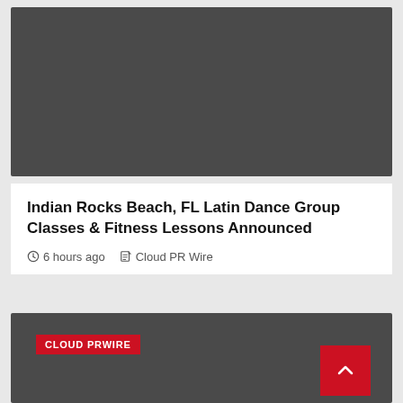[Figure (photo): Dark gray image placeholder block at the top of the article]
Indian Rocks Beach, FL Latin Dance Group Classes & Fitness Lessons Announced
6 hours ago   Cloud PR Wire
[Figure (photo): Dark gray image block with CLOUD PRWIRE red badge label and a red scroll-to-top button in the bottom right corner]